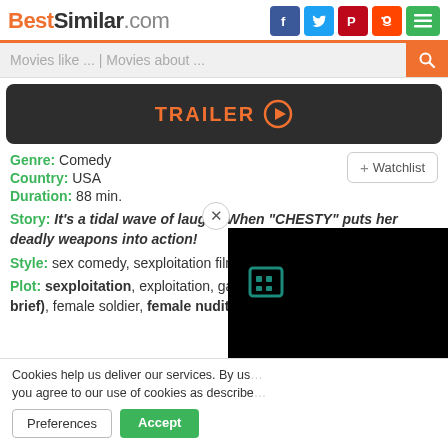BestSimilar.com
Movies like ... | Movies about ...
[Figure (screenshot): Trailer button with play icon on dark background]
Genre: Comedy
Country: USA
Duration: 88 min.
+ Watchlist
Story: It's a tidal wave of laughs When "CHESTY" puts her deadly weapons into action!
Style: sex comedy, sexploitation film
Plot: sexploitation, exploitation, gangsters, nudity (full frontal - brief), female soldier, female nudi
Cookies help us deliver our services. By us you agree to our use of cookies as describe
Preferences
Accept